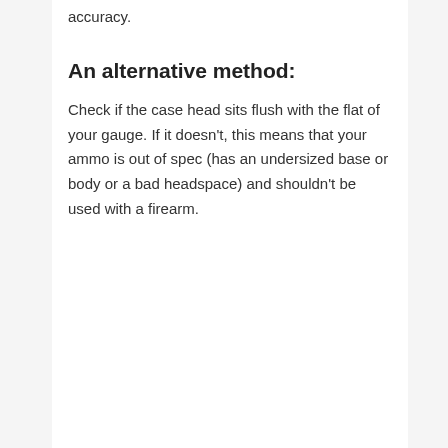accuracy.
An alternative method:
Check if the case head sits flush with the flat of your gauge. If it doesn't, this means that your ammo is out of spec (has an undersized base or body or a bad headspace) and shouldn't be used with a firearm.